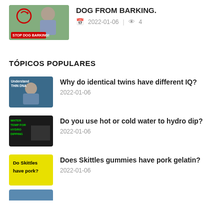[Figure (photo): Thumbnail image of a man outdoors with a red circle arrow and a red 'STOP DOG BARKING!' badge overlay]
2022-01-06  |  👁 4
TÓPICOS POPULARES
[Figure (photo): Thumbnail with text 'Understand THIN DNA' on a blue-green background with a person]
Why do identical twins have different IQ?
2022-01-06
[Figure (photo): Thumbnail with green text 'WATER TEMP FOR HYDRO DIPPING' on dark background]
Do you use hot or cold water to hydro dip?
2022-01-06
[Figure (photo): Thumbnail with yellow background and black text 'Do Skittles have pork?']
Does Skittles gummies have pork gelatin?
2022-01-06
[Figure (photo): Partial thumbnail at bottom of page, blue tones]